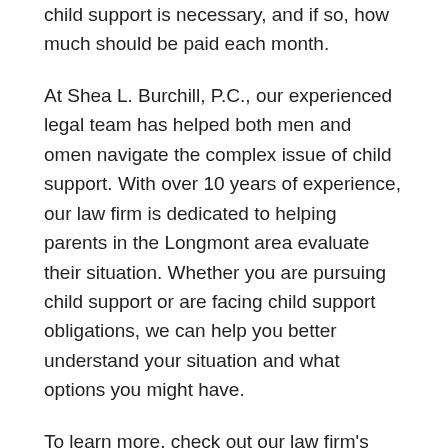child support is necessary, and if so, how much should be paid each month.
At Shea L. Burchill, P.C., our experienced legal team has helped both men and omen navigate the complex issue of child support. With over 10 years of experience, our law firm is dedicated to helping parents in the Longmont area evaluate their situation. Whether you are pursuing child support or are facing child support obligations, we can help you better understand your situation and what options you might have.
To learn more, check out our law firm's child support website. Whether you seek to establish an order during dissolution or you are attempting to modify it post-divorce, taking the time to evaluate the details of your matter could help you obtain a child support agreement that focuses on the best interests of the child.